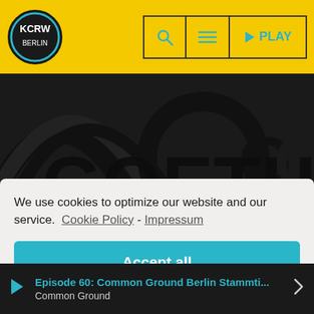KCRW Berlin — Navigation bar with search, menu, and PLAY buttons
[Figure (screenshot): Partial view of a page background showing large concentric arc shapes and partial text 'GOETHE' in bold black letters on dark background]
We use cookies to optimize our website and our service.  Cookie Policy  -  Impressum
Accept all
Functional only
View preferences
Episode 60: Common Ground Berlin Stammti... | Common Ground